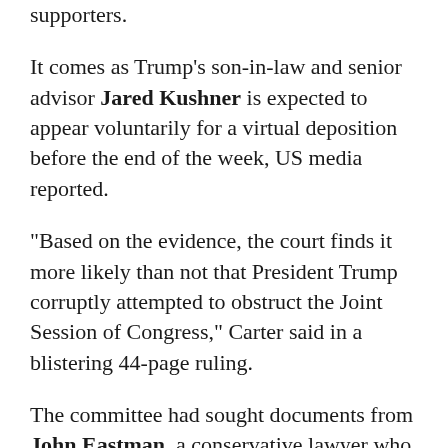supporters.
It comes as Trump's son-in-law and senior advisor Jared Kushner is expected to appear voluntarily for a virtual deposition before the end of the week, US media reported.
“Based on the evidence, the court finds it more likely than not that President Trump corruptly attempted to obstruct the Joint Session of Congress,” Carter said in a blistering 44-page ruling.
The committee had sought documents from John Eastman, a conservative lawyer who provided legal advice to Trump in the wake of his November 2020 election loss to Democrat Joe Biden.
Carter, a Bill Clinton appointee who serves on a US District Court in California, rejected Eastman’s